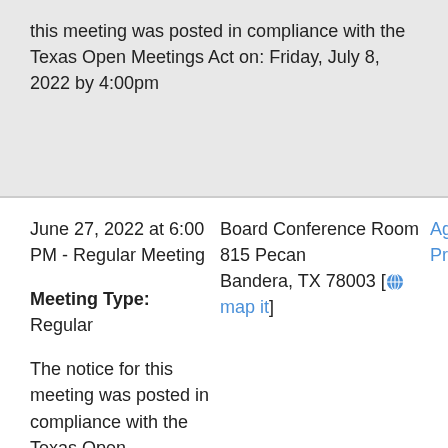this meeting was posted in compliance with the Texas Open Meetings Act on: Friday, July 8, 2022 by 4:00pm
June 27, 2022 at 6:00 PM - Regular Meeting
Meeting Type: Regular
Board Conference Room 815 Pecan Bandera, TX 78003 [map it]
Agenda Projector
The notice for this meeting was posted in compliance with the Texas Open